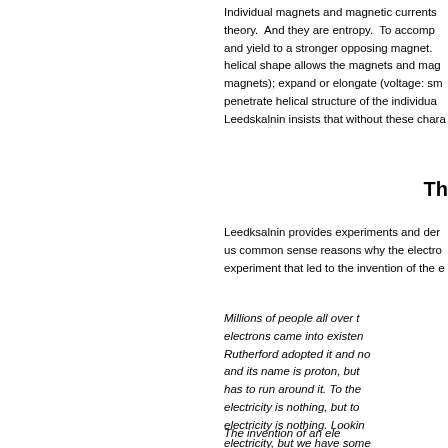Individual magnets and magnetic currents theory. And they are entropy. To accomp and yield to a stronger opposing magnet. helical shape allows the magnets and mag magnets); expand or elongate (voltage: sm penetrate helical structure of the individua Leedskalnin insists that without these chara
Th
Leedksalnin provides experiments and der us common sense reasons why the electro experiment that led to the invention of the e
Millions of people all over t electrons came into existen Rutherford adopted it and no and its name is proton, but has to run around it. To the electricity is nothing, but to electricity is nothing. Lookin electricity, but we have some wire from a generator or a b then you will know what the
The invention of an ele